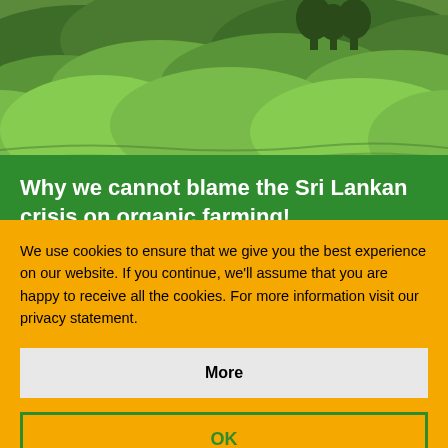[Figure (photo): Aerial/landscape photograph of lush green tea plantation hills with dense tea bushes covering rolling terrain, trees visible in background]
Why we cannot blame the Sri Lankan crisis on organic farming!
We use cookies to ensure that we give you the best experience on our website. If you continue, we'll assume that you are happy to receive all the cookies. For more information visit our privacy statement.
More
OK